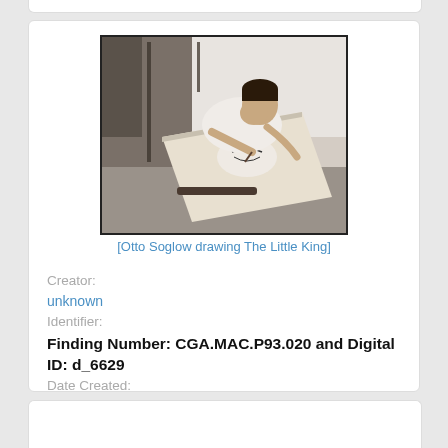[Figure (photo): Black and white photograph of Otto Soglow leaning over a drawing board, drawing The Little King comic strip character.]
[Otto Soglow drawing The Little King]
Creator:
unknown
Identifier:
Finding Number: CGA.MAC.P93.020 and Digital ID: d_6629
Date Created:
19XX